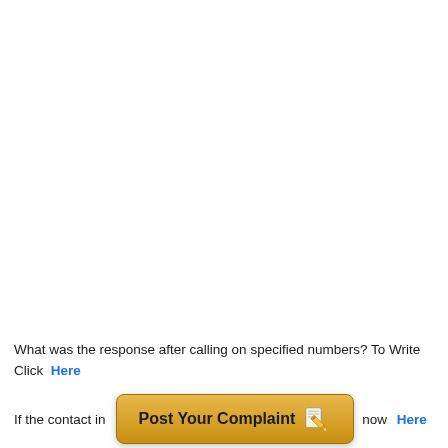What was the response after calling on specified numbers? To Write Click  Here
If the contact in  [Post Your Complaint]  now  Here